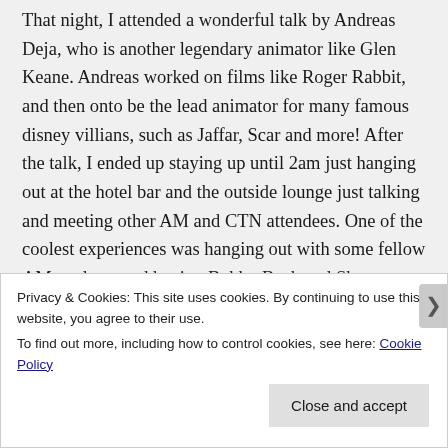That night, I attended a wonderful talk by Andreas Deja, who is another legendary animator like Glen Keane. Andreas worked on films like Roger Rabbit, and then onto be the lead animator for many famous disney villians, such as Jaffar, Scar and more! After the talk, I ended up staying up until 2am just hanging out at the hotel bar and the outside lounge just talking and meeting other AM and CTN attendees. One of the coolest experiences was hanging out with some fellow AM students and having Bobby Beck and Shawn Kelly wonder over to us and just sit down at the fire pits and hang out with us and we all just geeked out about
Privacy & Cookies: This site uses cookies. By continuing to use this website, you agree to their use.
To find out more, including how to control cookies, see here: Cookie Policy
Close and accept